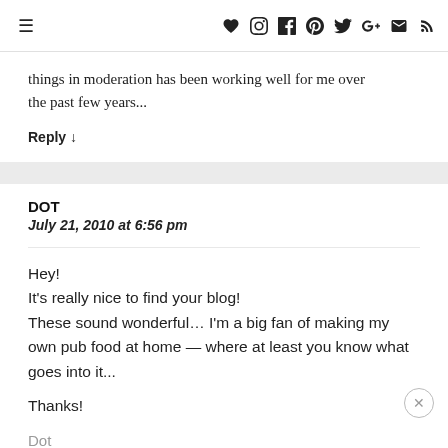≡  ♥  Instagram  Facebook  Pinterest  Twitter  G+  Email  RSS
things in moderation has been working well for me over the past few years...
Reply ↓
DOT
July 21, 2010 at 6:56 pm
Hey!
It's really nice to find your blog!
These sound wonderful… I'm a big fan of making my own pub food at home — where at least you know what goes into it...

Thanks!

Dot
(PS. I've featured your recipe in the spotlight today, at...